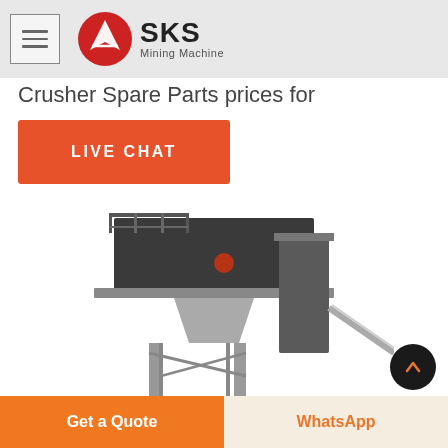SKS Mining Machine
Crusher Spare Parts prices for
[Figure (other): Orange rectangular LIVE CHAT button]
[Figure (photo): Industrial crusher / mining machine on elevated steel frame structure]
[Figure (other): Dark circular up-arrow scroll button]
[Figure (other): Bottom navigation bar with orange Get a Quote button and WhatsApp button]